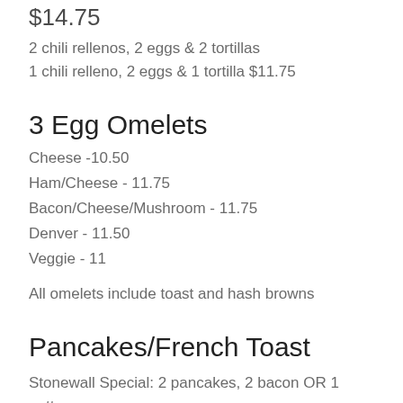$14.75
2 chili rellenos, 2 eggs & 2 tortillas
1 chili relleno, 2 eggs & 1 tortilla $11.75
3 Egg Omelets
Cheese -10.50
Ham/Cheese - 11.75
Bacon/Cheese/Mushroom - 11.75
Denver - 11.50
Veggie - 11
All omelets include toast and hash browns
Pancakes/French Toast
Stonewall Special: 2 pancakes, 2 bacon OR 1 patty